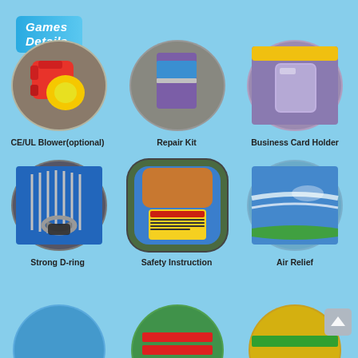Games Details
[Figure (photo): Circular photo of CE/UL blower (red and yellow fan blower)]
CE/UL Blower(optional)
[Figure (photo): Circular photo of repair kit (purple and blue fabric patches)]
Repair Kit
[Figure (photo): Circular photo of business card holder (purple inflatable pocket)]
Business Card Holder
[Figure (photo): Circular photo of strong D-ring (blue fabric with metal D-ring and bungee cords)]
Strong D-ring
[Figure (photo): Circular photo of safety instruction label on inflatable]
Safety Instruction
[Figure (photo): Circular photo of air relief valve on blue inflatable]
Air Relief
[Figure (photo): Partial circular photo of blue inflatable detail (bottom row left)]
[Figure (photo): Partial circular photo of green and red striped inflatable detail (bottom row middle)]
[Figure (photo): Partial circular photo of yellow and green inflatable detail (bottom row right)]